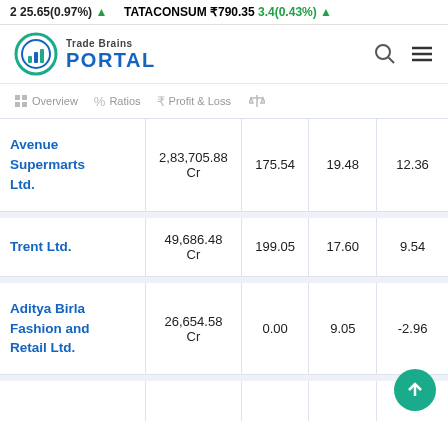25.65(0.97%) ▲  TATACONSUM ₹790.35  3.4(0.43%) ▲
[Figure (logo): Trade Brains PORTAL logo with circular chart icon]
Overview   %  Ratios   ₹  Profit & Loss  ⚖
| Company | Market Cap | Col3 | Col4 | Col5 |
| --- | --- | --- | --- | --- |
| Avenue Supermarts Ltd. | 2,83,705.88 Cr | 175.54 | 19.48 | 12.36 |
| Trent Ltd. | 49,686.48 Cr | 199.05 | 17.60 | 9.54 |
| Aditya Birla Fashion and Retail Ltd. | 26,654.58 Cr | 0.00 | 9.05 | -2.96 |